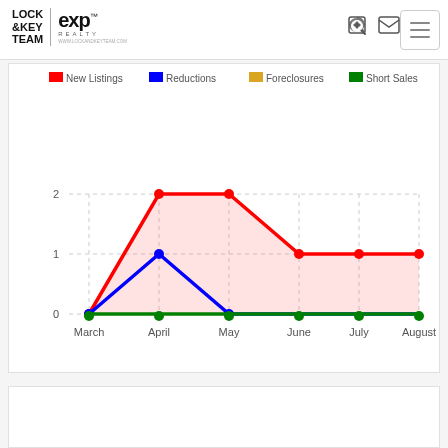[Figure (logo): Lock & Key Team eXp Realty logo with website URL www.lockandkeyteam.com]
[Figure (line-chart): ]